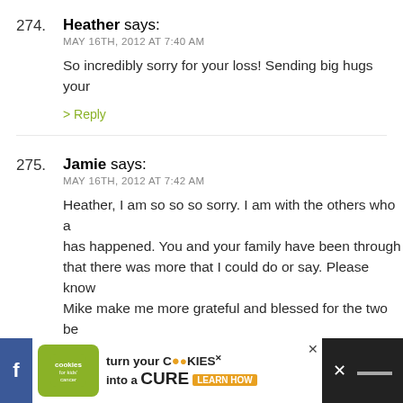274. Heather says:
MAY 16TH, 2012 AT 7:40 AM
So incredibly sorry for your loss! Sending big hugs your
275. Jamie says:
MAY 16TH, 2012 AT 7:42 AM
Heather, I am so so so sorry. I am with the others who a has happened. You and your family have been through that there was more that I could do or say. Please know Mike make me more grateful and blessed for the two be that we've been blessed with. And every time I donate t Dimes at the grocery store, I write "In Memory of Madc tiny thing but I truly hope it brings you a tiny measure c day is gloomy and rainy here today. Please know that w along with you today.
[Figure (infographic): Advertisement banner: cookies for kids cancer - turn your cookies into a cure, learn how]